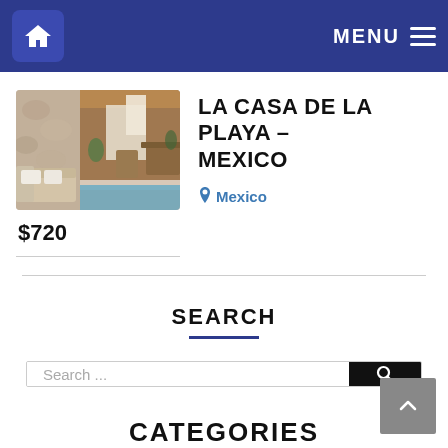Home | MENU
[Figure (photo): Hotel room with stone wall, wooden furniture, and pool area — La Casa de la Playa, Mexico]
$720
LA CASA DE LA PLAYA – MEXICO
Mexico
SEARCH
Search ...
CATEGORIES